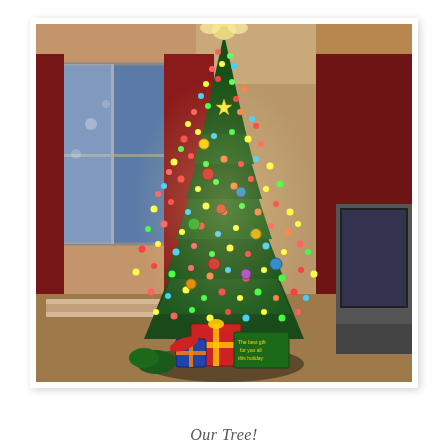[Figure (photo): A decorated Christmas tree with colorful lights and ornaments, topped with an angel/star topper, standing in a living room with red curtains and a window showing blue twilight outside. Wrapped presents are visible at the base of the tree. A television is partially visible on the right side.]
Our Tree!